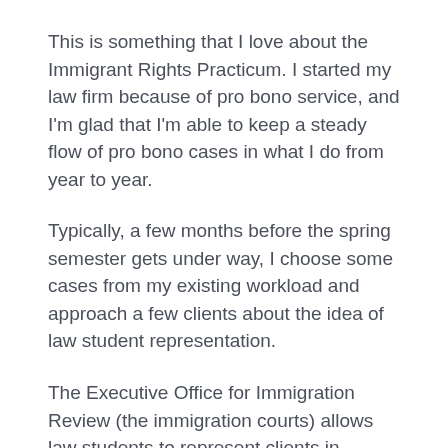This is something that I love about the Immigrant Rights Practicum. I started my law firm because of pro bono service, and I'm glad that I'm able to keep a steady flow of pro bono cases in what I do from year to year.
Typically, a few months before the spring semester gets under way, I choose some cases from my existing workload and approach a few clients about the idea of law student representation.
The Executive Office for Immigration Review (the immigration courts) allows law students to represent clients in removal proceedings, provided that representation is pro bono.
It feels good to be able to hand pick cases of